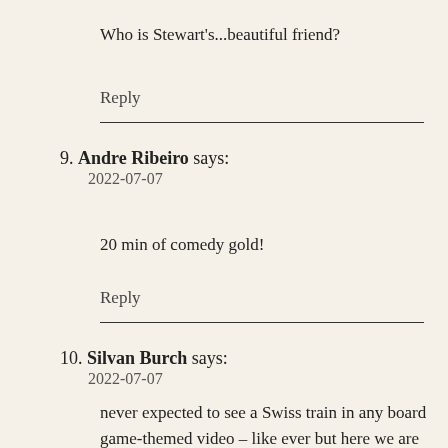Who is Stewart's...beautiful friend?
Reply
9. Andre Ribeiro says:
2022-07-07
20 min of comedy gold!
Reply
10. Silvan Burch says:
2022-07-07
never expected to see a Swiss train in any board game-themed video – like ever but here we are 🙂